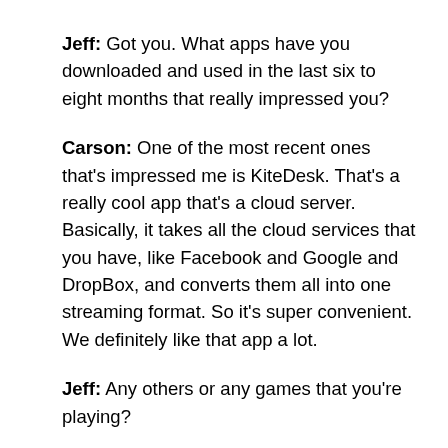Jeff: Got you. What apps have you downloaded and used in the last six to eight months that really impressed you?
Carson: One of the most recent ones that's impressed me is KiteDesk. That's a really cool app that's a cloud server. Basically, it takes all the cloud services that you have, like Facebook and Google and DropBox, and converts them all into one streaming format. So it's super convenient. We definitely like that app a lot.
Jeff: Any others or any games that you're playing?
Cliff: You know what, as much as I would like to play games on my phone, I'm so busy right now. Games